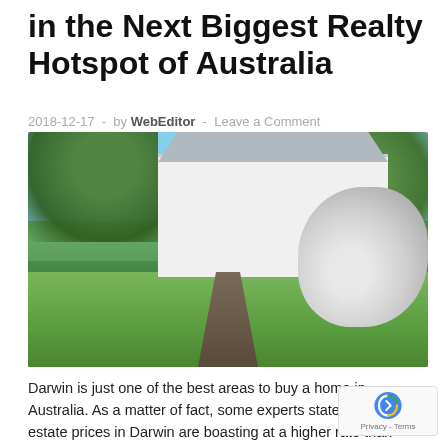in the Next Biggest Realty Hotspot of Australia
2018-12-17  -  by WebEditor  -  Leave a Comment
[Figure (photo): Exterior photo of a large white country house with green lawn, lush tree-lined garden, gravel driveway, and white flowering hydrangea bushes under a blue sky.]
Darwin is just one of the best areas to buy a home in Australia. As a matter of fact, some experts state that real estate prices in Darwin are boasting at a higher rate than